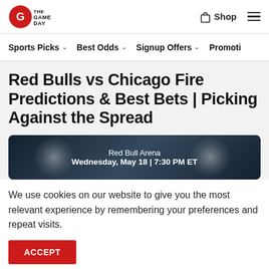The Game Day — Shop | Navigation menu
Sports Picks ∨   Best Odds ∨   Signup Offers ∨   Promoti…
Red Bulls vs Chicago Fire Predictions & Best Bets | Picking Against the Spread
[Figure (photo): Dark stadium banner image showing 'Red Bull Arena' and 'Wednesday, May 18 | 7:30 PM ET' with light flare effect]
We use cookies on our website to give you the most relevant experience by remembering your preferences and repeat visits.
ACCEPT